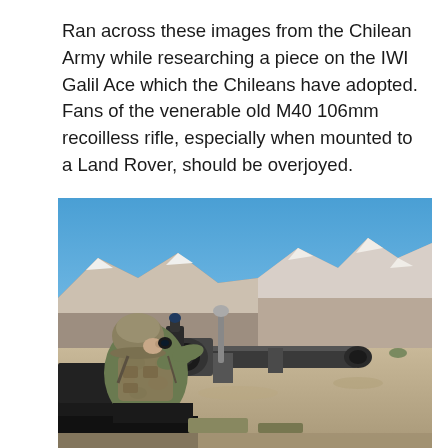Ran across these images from the Chilean Army while researching a piece on the IWI Galil Ace which the Chileans have adopted. Fans of the venerable old M40 106mm recoilless rifle, especially when mounted to a Land Rover, should be overjoyed.
[Figure (photo): A Chilean Army soldier in camouflage uniform and helmet aiming through the sight of an M40 106mm recoilless rifle mounted on a vehicle, with snow-capped mountains and blue sky in the background.]